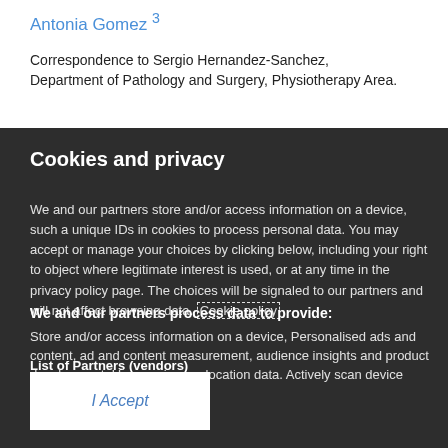Antonia Gomez 3
Correspondence to Sergio Hernandez-Sanchez, Department of Pathology and Surgery, Physiotherapy Area.
Cookies and privacy
We and our partners store and/or access information on a device, such a unique IDs in cookies to process personal data. You may accept or manage your choices by clicking below, including your right to object where legitimate interest is used, or at any time in the privacy policy page. These choices will be signaled to our partners and will not affect browsing data. Cookie policy
We and our partners process data to provide:
Store and/or access information on a device, Personalised ads and content, ad and content measurement, audience insights and product development. Use precise geolocation data. Actively scan device characteristics for identification
List of Partners (vendors)
I Accept